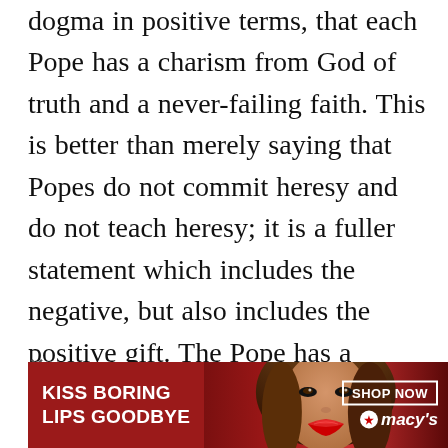dogma in positive terms, that each Pope has a charism from God of truth and a never-failing faith. This is better than merely saying that Popes do not commit heresy and do not teach heresy; it is a fuller statement which includes the negative, but also includes the positive gift. The Pope has a charism from God ordered inexorably toward truth and faith. Unfailing in truth. Unfailing in faith. That is the Vicar of Christ, guided by the Holy Spirit.
[Figure (other): Advertisement banner for Macy's with red background, woman's face with red lips, text 'KISS BORING LIPS GOODBYE', 'SHOP NOW' button, and Macy's star logo]